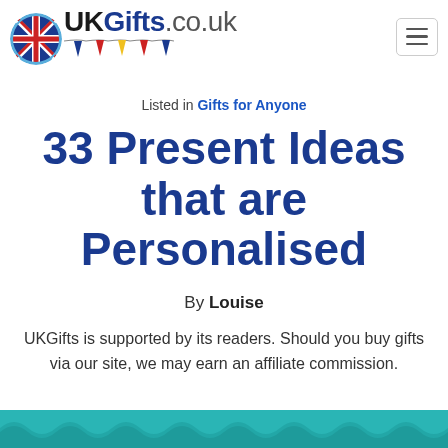UKGifts.co.uk
Listed in Gifts for Anyone
33 Present Ideas that are Personalised
By Louise
UKGifts is supported by its readers. Should you buy gifts via our site, we may earn an affiliate commission.
[Figure (illustration): Teal/turquoise decorative wave banner at the bottom of the page]